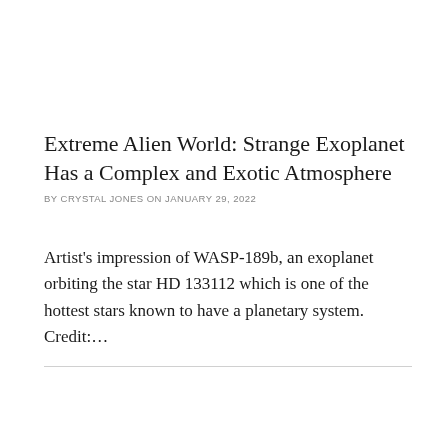Extreme Alien World: Strange Exoplanet Has a Complex and Exotic Atmosphere
BY CRYSTAL JONES ON JANUARY 29, 2022
Artist's impression of WASP-189b, an exoplanet orbiting the star HD 133112 which is one of the hottest stars known to have a planetary system. Credit:…